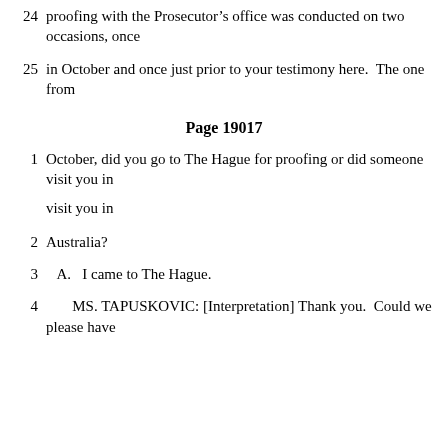24    proofing with the Prosecutor’s office was conducted on two occasions, once
25    in October and once just prior to your testimony here.  The one from
Page 19017
1    October, did you go to The Hague for proofing or did someone visit you in
2    Australia?
3      A.   I came to The Hague.
4          MS. TAPUSKOVIC: [Interpretation] Thank you.  Could we please have